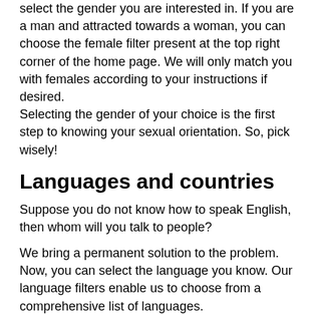select the gender you are interested in. If you are a man and attracted towards a woman, you can choose the female filter present at the top right corner of the home page. We will only match you with females according to your instructions if desired.
Selecting the gender of your choice is the first step to knowing your sexual orientation. So, pick wisely!
Languages and countries
Suppose you do not know how to speak English, then whom will you talk to people?
We bring a permanent solution to the problem. Now, you can select the language you know. Our language filters enable us to choose from a comprehensive list of languages.
There is another feature you would like to know about, and that is our country filter. What if you want strangers from a specific nationality? How would you reach them? Please do